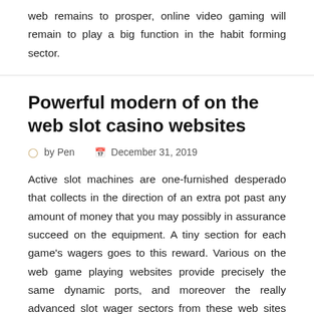web remains to prosper, online video gaming will remain to play a big function in the habit forming sector.
Powerful modern of on the web slot casino websites
by Pen   December 31, 2019
Active slot machines are one-furnished desperado that collects in the direction of an extra pot past any amount of money that you may possibly in assurance succeed on the equipment. A tiny section for each game's wagers goes to this reward. Various on the web game playing websites provide precisely the same dynamic ports, and moreover the really advanced slot wager sectors from these web sites are midway pooled to make the